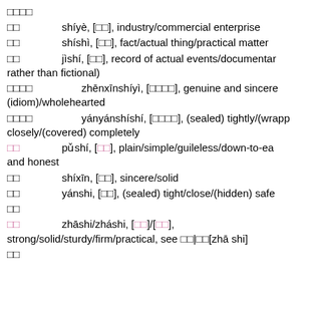□□□□
□□   shíyè, [□□], industry/commercial enterprise
□□   shíshì, [□□], fact/actual thing/practical matter
□□   jìshí, [□□], record of actual events/documentary rather than fictional)
□□□□   zhēnxīnshíyì, [□□□□], genuine and sincere (idiom)/wholehearted
□□□□   yányánshíshí, [□□□□], (sealed) tightly/(wrapped) closely/(covered) completely
□□   pǔshí, [□□], plain/simple/guileless/down-to-earth and honest
□□   shíxīn, [□□], sincere/solid
□□   yánshi, [□□], (sealed) tight/close/(hidden) safe
□□
□□   zhāshi/zháshi, [□□]/[□□], strong/solid/sturdy/firm/practical, see □□|□□[zhā shi]
□□